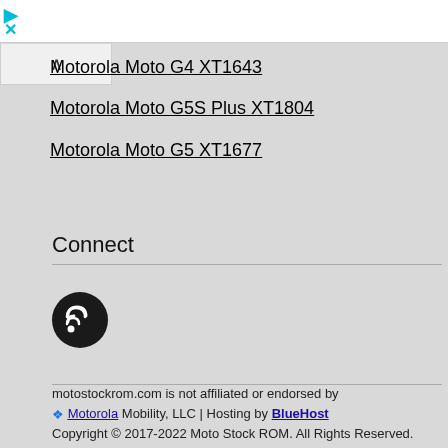Motorola Moto G4 XT1643
Motorola Moto G5S Plus XT1804
Motorola Moto G5 XT1677
Connect
[Figure (other): RSS/podcast feed icon - black circle with white wifi-style signal icon]
motostockrom.com is not affiliated or endorsed by Motorola Mobility, LLC | Hosting by BlueHost Copyright © 2017-2022 Moto Stock ROM. All Rights Reserved.